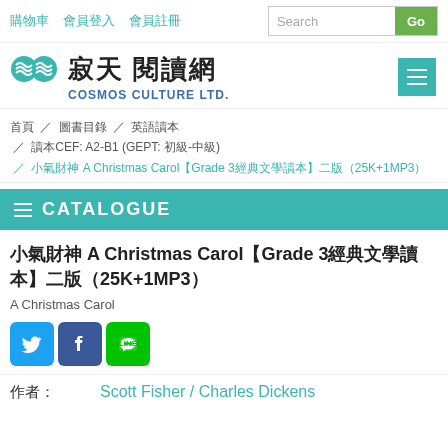購物車  會員登入  會員註冊  Search  Go
[Figure (logo): 寂天閱讀網 Cosmos Culture Ltd. logo with teal wave icon and Chinese/English text]
首頁 / 圖書目錄 / 英語讀本 / 讀本CEF: A2-B1 (GEPT: 初級-中級) / 小氣財神 A Christmas Carol【Grade 3經典文學讀本】二版（25K+1MP3）
CATALOGUE
小氣財神 A Christmas Carol【Grade 3經典文學讀本】二版（25K+1MP3）
A Christmas Carol
[Figure (infographic): Social media share icons: Twitter (blue bird), Facebook (blue f), LINE (green)]
作者： Scott Fisher / Charles Dickens